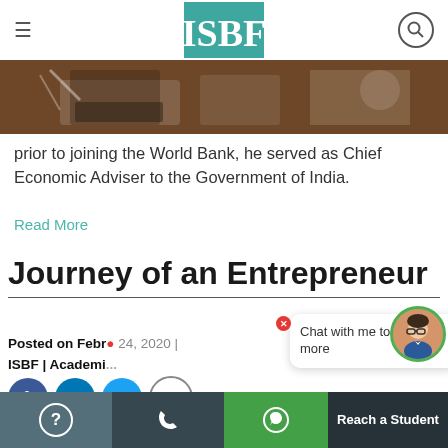ISBF
[Figure (photo): Hero image showing a desk with laptop and documents from above, with dark overlay]
prior to joining the World Bank, he served as Chief Economic Adviser to the Government of India.
Read More
Journey of an Entrepreneur
Posted on Febr...
ISBF | Academi...
[Figure (infographic): Chat bubble with avatar saying 'Chat with me to know more']
[Figure (infographic): Social media icons: Facebook, LinkedIn, Twitter, Google+]
? | Phone | WhatsApp | Reach a Student